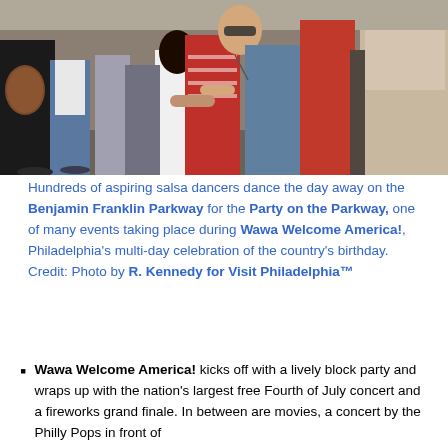[Figure (photo): Crowd of people dancing salsa outdoors on a paved area. Multiple couples dancing, some people watching. Casual clothing, daytime setting.]
Hundreds of aspiring salsa dancers dance the day away on the Benjamin Franklin Parkway for the Party on the Parkway, one of many events taking place during Wawa Welcome America!, Philadelphia's multi-day celebration of the country's birthday. Credit: Photo by R. Kennedy for Visit Philadelphia™
Wawa Welcome America! kicks off with a lively block party and wraps up with the nation's largest free Fourth of July concert and a fireworks grand finale. In between are movies, a concert by the Philly Pops in front of